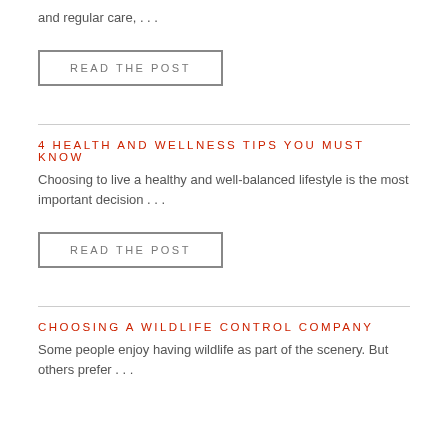and regular care, . . .
READ THE POST
4 HEALTH AND WELLNESS TIPS YOU MUST KNOW
Choosing to live a healthy and well-balanced lifestyle is the most important decision . . .
READ THE POST
CHOOSING A WILDLIFE CONTROL COMPANY
Some people enjoy having wildlife as part of the scenery. But others prefer . . .